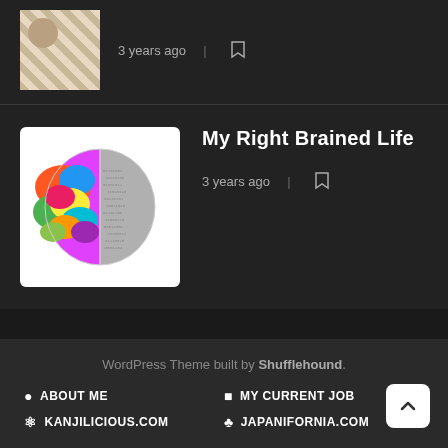[Figure (screenshot): Thumbnail image partially visible at top, checkered/geometric pattern with a round object]
3 years ago  |  [bookmark icon]
[Figure (illustration): Brain illustration split: left half colorful multicolored segments, right half gray with text/binary pattern, on white background]
My Right Brained Life
3 years ago  |  [bookmark icon]
WordPress Theme built by Shufflehound.
ABOUT ME
MY CURRENT JOB
KANJILICIOUS.COM
JAPANIFORNIA.COM